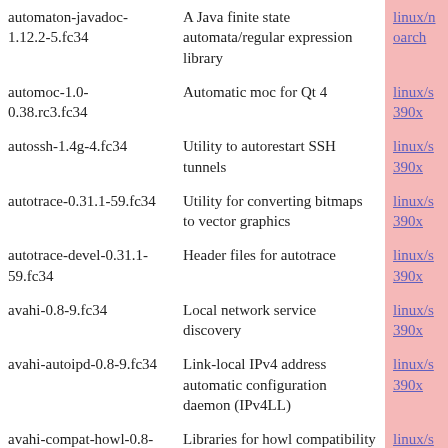| Package | Description | Arch |
| --- | --- | --- |
| automaton-javadoc-1.12.2-5.fc34 | A Java finite state automata/regular expression library | linux/noarch |
| automoc-1.0-0.38.rc3.fc34 | Automatic moc for Qt 4 | linux/s390x |
| autossh-1.4g-4.fc34 | Utility to autorestart SSH tunnels | linux/s390x |
| autotrace-0.31.1-59.fc34 | Utility for converting bitmaps to vector graphics | linux/s390x |
| autotrace-devel-0.31.1-59.fc34 | Header files for autotrace | linux/s390x |
| avahi-0.8-9.fc34 | Local network service discovery | linux/s390x |
| avahi-autoipd-0.8-9.fc34 | Link-local IPv4 address automatic configuration daemon (IPv4LL) | linux/s390x |
| avahi-compat-howl-0.8-9.fc34 | Libraries for howl compatibility | linux/s390x |
| avahi-compat-howl-devel-0.8-9.fc34 | Header files for development with the howl compatibility libraries | linux/s390x |
| avahi-compat-libdns_sd-0.8-9.fc34 | Libraries for Apple Bonjour mDNSResponder | linux/s390x |